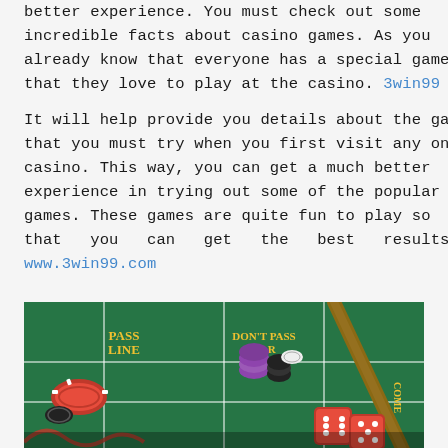better experience. You must check out some incredible facts about casino games. As you already know that everyone has a special game that they love to play at the casino. 3win99
It will help provide you details about the games that you must try when you first visit any online casino. This way, you can get a much better experience in trying out some of the popular games. These games are quite fun to play so that you can get the best results. www.3win99.com
[Figure (photo): Casino craps table with red dice, poker chips, and a croupier stick on green felt]